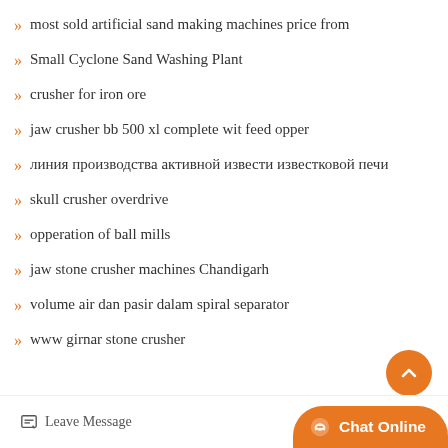most sold artificial sand making machines price from
Small Cyclone Sand Washing Plant
crusher for iron ore
jaw crusher bb 500 xl complete wit feed opper
линия производства активной извести известковой печи
skull crusher overdrive
opperation of ball mills
jaw stone crusher machines Chandigarh
volume air dan pasir dalam spiral separator
www girnar stone crusher
Leave Message
Chat Online